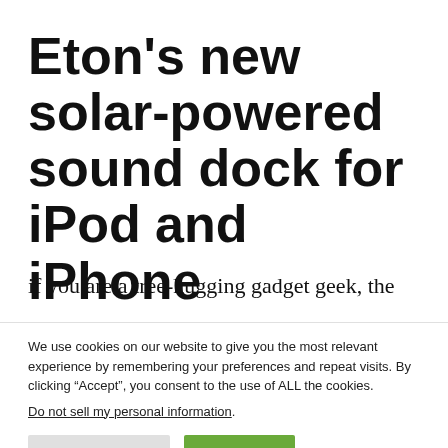Eton's new solar-powered sound dock for iPod and iPhone
if you are a tree-hugging gadget geek, the
We use cookies on our website to give you the most relevant experience by remembering your preferences and repeat visits. By clicking “Accept”, you consent to the use of ALL the cookies. Do not sell my personal information.
Cookie Settings  Accept